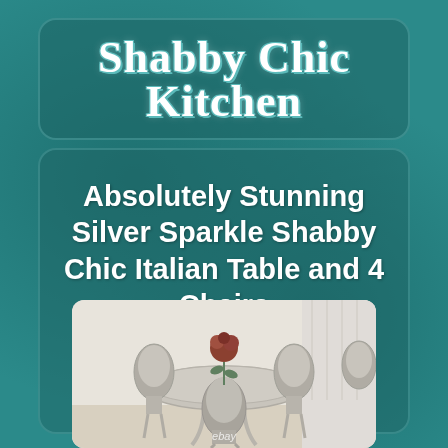Shabby Chic Kitchen
Absolutely Stunning Silver Sparkle Shabby Chic Italian Table and 4 Chairs
[Figure (photo): Silver sparkle shabby chic Italian dining table with 4 chairs in a showroom setting, with ebay watermark at bottom]